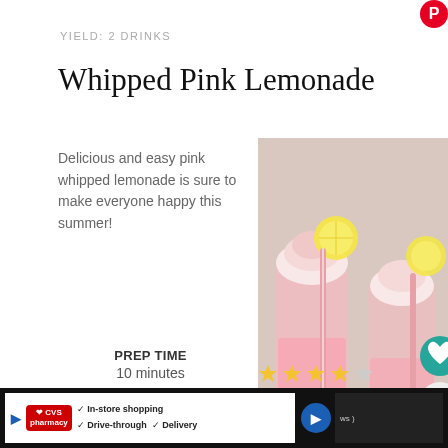YIELD: 2 DRINKS
Whipped Pink Lemonade
Delicious and easy pink whipped lemonade is sure to make everyone happy this summer!
[Figure (photo): Two tall glasses of pink whipped lemonade with whipped cream tops and lemon slice garnishes, served on a wooden board with striped straws and teal/striped napkins]
PREP TIME
10 minutes
TOTAL TIME
10 minutes
[Figure (other): Star rating icons, mostly filled gold stars]
[Figure (other): CVS Pharmacy advertisement bar with In-store shopping, Drive-through, Delivery options]